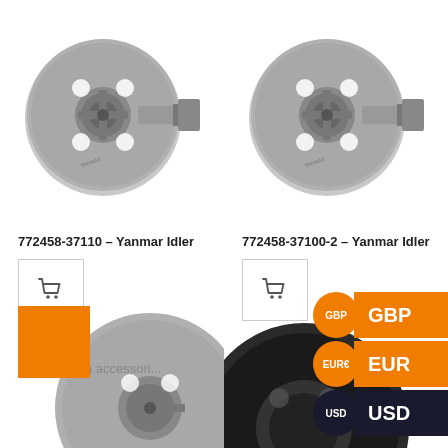[Figure (photo): Metal idler wheel component (Yanmar Idler) – circular metal disc with holes and shaft attachment, product 772458-37110]
772458-37110 – Yanmar Idler
[Figure (photo): Metal idler wheel component (Yanmar Idler) – circular metal disc with holes and shaft attachment, product 772458-37100-2]
772458-37100-2 – Yanmar Idler
[Figure (photo): Partial view of a metal idler wheel component at bottom left with an orange badge overlay]
[Figure (photo): Partial view of a black rubber wheel/roller component at bottom right]
GBP
EUR
USD